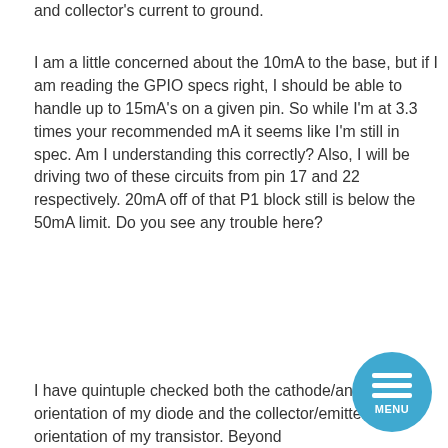and collector's current to ground.
I am a little concerned about the 10mA to the base, but if I am reading the GPIO specs right, I should be able to handle up to 15mA's on a given pin. So while I'm at 3.3 times your recommended mA it seems like I'm still in spec. Am I understanding this correctly? Also, I will be driving two of these circuits from pin 17 and 22 respectively. 20mA off of that P1 block still is below the 50mA limit. Do you see any trouble here?
I have quintuple checked both the cathode/anode orientation of my diode and the collector/emitter orientation of my transistor. Beyond